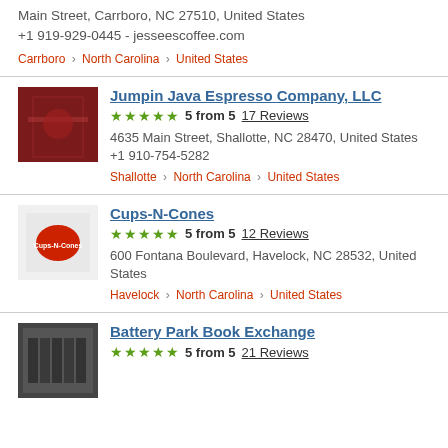Main Street, Carrboro, NC 27510, United States +1 919-929-0445 - jesseescoffee.com
Carrboro > North Carolina > United States
Jumpin Java Espresso Company, LLC
5 from 5  17 Reviews
4635 Main Street, Shallotte, NC 28470, United States +1 910-754-5282
Shallotte > North Carolina > United States
Cups-N-Cones
5 from 5  12 Reviews
600 Fontana Boulevard, Havelock, NC 28532, United States
Havelock > North Carolina > United States
Battery Park Book Exchange
5 from 5  21 Reviews